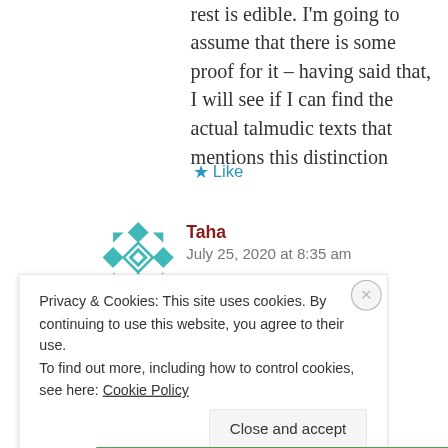rest is edible. I'm going to assume that there is some proof for it – having said that, I will see if I can find the actual talmudic texts that mentions this distinction
★ Like
[Figure (illustration): Teal geometric pattern avatar icon for user Taha]
Taha
July 25, 2020 at 8:35 am
Privacy & Cookies: This site uses cookies. By continuing to use this website, you agree to their use.
To find out more, including how to control cookies, see here: Cookie Policy
Close and accept